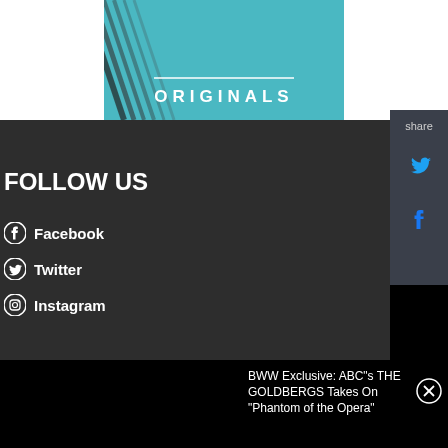[Figure (illustration): Teal/cyan banner image with diagonal lines on the left and the word ORIGINALS in white capital letters with a horizontal line above it]
[Figure (screenshot): Share panel on the right side with Twitter bird icon and Facebook icon in blue, with 'share' label at top]
FOLLOW US
Facebook
Twitter
Instagram
BWW Exclusive: ABC"s THE GOLDBERGS Takes On "Phantom of the Opera"